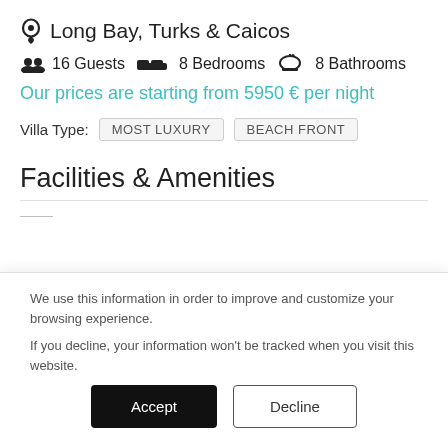📍 Long Bay, Turks & Caicos
👥 16 Guests  🛏 8 Bedrooms  🛁 8 Bathrooms
Our prices are starting from 5950 € per night
Villa Type:  MOST LUXURY  BEACH FRONT
Facilities & Amenities
We use this information in order to improve and customize your browsing experience.

If you decline, your information won't be tracked when you visit this website.
Accept   Decline